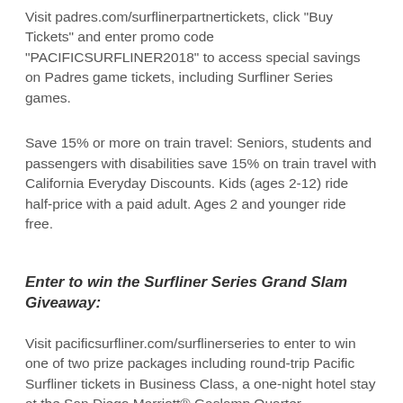Visit padres.com/surflinerpartnertickets, click "Buy Tickets" and enter promo code "PACIFICSURFLINER2018" to access special savings on Padres game tickets, including Surfliner Series games.
Save 15% or more on train travel: Seniors, students and passengers with disabilities save 15% on train travel with California Everyday Discounts. Kids (ages 2-12) ride half-price with a paid adult. Ages 2 and younger ride free.
Enter to win the Surfliner Series Grand Slam Giveaway:
Visit pacificsurfliner.com/surflinerseries to enter to win one of two prize packages including round-trip Pacific Surfliner tickets in Business Class, a one-night hotel stay at the San Diego Marriott® Gaslamp Quarter